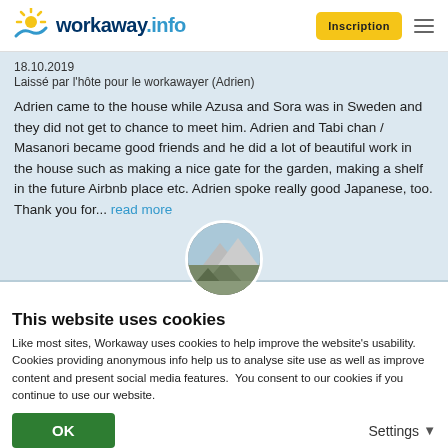workaway.info | Inscription
18.10.2019
Laissé par l'hôte pour le workawayer (Adrien)
Adrien came to the house while Azusa and Sora was in Sweden and they did not get to chance to meet him. Adrien and Tabi chan / Masanori became good friends and he did a lot of beautiful work in the house such as making a nice gate for the garden, making a shelf in the future Airbnb place etc. Adrien spoke really good Japanese, too. Thank you for... read more
[Figure (photo): Circular profile photo of a person outdoors]
This website uses cookies
Like most sites, Workaway uses cookies to help improve the website's usability. Cookies providing anonymous info help us to analyse site use as well as improve content and present social media features.  You consent to our cookies if you continue to use our website.
OK
Settings